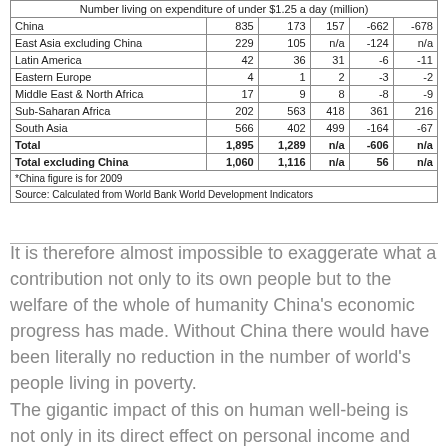|  | 1981 | 2005 | 2010 | Change 1981–2005 | Change 1981–2010 |
| --- | --- | --- | --- | --- | --- |
| Number living on expenditure of under $1.25 a day (million) |  |  |  |  |  |
| China | 835 | 173 | 157 | -662 | -678 |
| East Asia excluding China | 229 | 105 | n/a | -124 | n/a |
| Latin America | 42 | 36 | 31 | -6 | -11 |
| Eastern Europe | 4 | 1 | 2 | -3 | -2 |
| Middle East & North Africa | 17 | 9 | 8 | -8 | -9 |
| Sub-Saharan Africa | 202 | 563 | 418 | 361 | 216 |
| South Asia | 566 | 402 | 499 | -164 | -67 |
| Total | 1,895 | 1,289 | n/a | -606 | n/a |
| Total excluding China | 1,060 | 1,116 | n/a | 56 | n/a |
| *China figure is for 2009 |  |  |  |  |  |
| Source: Calculated from World Bank World Development Indicators |  |  |  |  |  |
It is therefore almost impossible to exaggerate what a contribution not only to its own people but to the welfare of the whole of humanity China's economic progress has made. Without China there would have been literally no reduction in the number of world's people living in poverty. The gigantic impact of this on human well-being is not only in its direct effect on personal income and expenditures. It is also in its indirect consequences for human welfare. To take simple examples